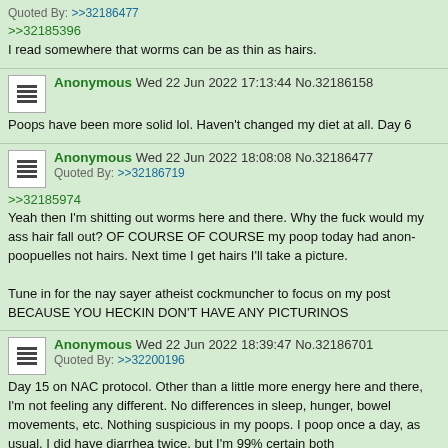Quoted By: >>32186477
>>32185396
I read somewhere that worms can be as thin as hairs.
Anonymous Wed 22 Jun 2022 17:13:44 No.32186158
Poops have been more solid lol. Haven't changed my diet at all. Day 6
Anonymous Wed 22 Jun 2022 18:08:08 No.32186477
Quoted By: >>32186719
>>32185974
Yeah then I'm shitting out worms here and there. Why the fuck would my ass hair fall out? OF COURSE OF COURSE my poop today had anon-poopuelles not hairs. Next time I get hairs I'll take a picture.

Tune in for the nay sayer atheist cockmuncher to focus on my post BECAUSE YOU HECKIN DON'T HAVE ANY PICTURINOS
Anonymous Wed 22 Jun 2022 18:39:47 No.32186701
Quoted By: >>32200196
Day 15 on NAC protocol. Other than a little more energy here and there, I'm not feeling any different. No differences in sleep, hunger, bowel movements, etc. Nothing suspicious in my poops. I poop once a day, as usual. I did have diarrhea twice, but I'm 99% certain both